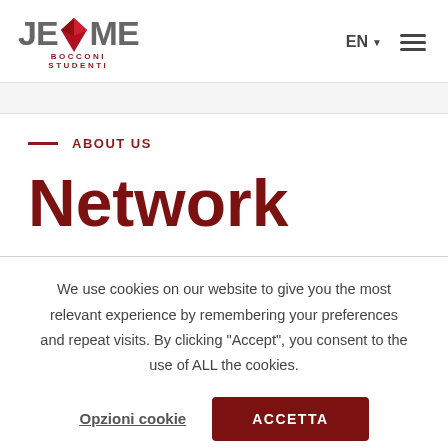[Figure (logo): JEME Bocconi Studenti logo with red diamond shape between J and ME letters]
EN ▼ ≡
ABOUT US
Network
We use cookies on our website to give you the most relevant experience by remembering your preferences and repeat visits. By clicking "Accept", you consent to the use of ALL the cookies.
Opzioni cookie
ACCETTA